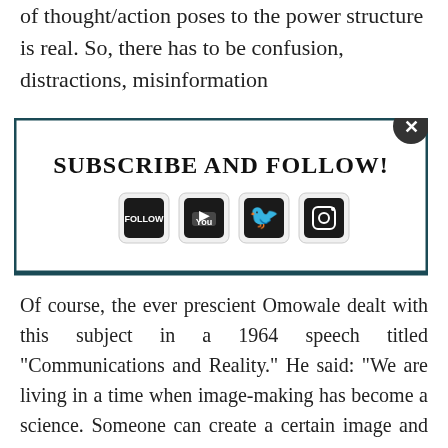of thought/action poses to the power structure is real. So, there has to be confusion, distractions, misinformation
[Figure (infographic): Subscribe and Follow popup modal with dark teal border, close button (X), title 'SUBSCRIBE AND FOLLOW!', and four social media icon buttons (Follow/blog, YouTube, Twitter, Instagram) in rounded square boxes]
Of course, the ever prescient Omowale dealt with this subject in a 1964 speech titled “Communications and Reality.” He said: “We are living in a time when image-making has become a science. Someone can create a certain image and then use that image to twist your mind and lead you right up a blind path.”
I’m adding this to my blogpost titled: “Omowale Malcolm X On American